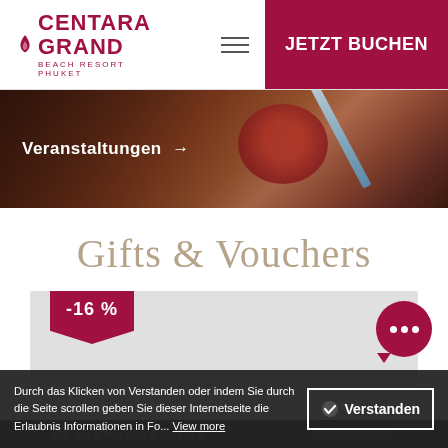Centara Grand Beach Resort Phuket — JETZT BUCHEN
[Figure (photo): Hero image of food on a wooden table with a red bowl, overlaid with navigation link 'Veranstaltungen →']
Veranstaltungen →
Gifts & Vouchers
[Figure (infographic): Voucher card with -16% ribbon badge and chat bubble icon on grey background]
-16 %
Durch das Klicken von Verstanden oder indem Sie durch die Seite scrollen geben Sie dieser Internetseite die Erlaubnis Informationen in Fo... View more
Verstanden
HEAVENLY VANILLA